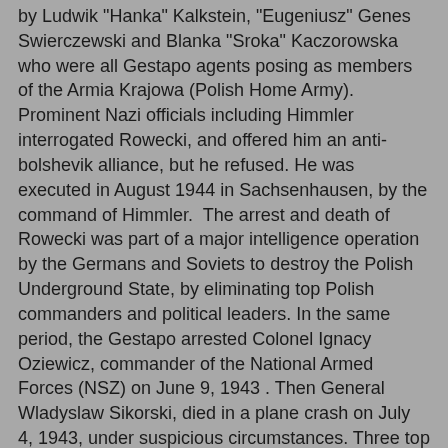by Ludwik "Hanka" Kalkstein, "Eugeniusz" Genes Swierczewski and Blanka "Sroka" Kaczorowska who were all Gestapo agents posing as members of the Armia Krajowa (Polish Home Army). Prominent Nazi officials including Himmler interrogated Rowecki, and offered him an anti-bolshevik alliance, but he refused. He was executed in August 1944 in Sachsenhausen, by the command of Himmler.  The arrest and death of Rowecki was part of a major intelligence operation by the Germans and Soviets to destroy the Polish Underground State, by eliminating top Polish commanders and political leaders. In the same period, the Gestapo arrested Colonel Ignacy Oziewicz, commander of the National Armed Forces (NSZ) on June 9, 1943 . Then General Wladyslaw Sikorski, died in a plane crash on July 4, 1943, under suspicious circumstances. Three top commanders were killed in a period of two months.
1946
The Polish People's Referendum, also known as 3xTAK, (Three Times Yes) was held on this day in 1946.  On